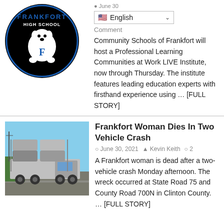[Figure (logo): Frankfort High School circular logo with mascot (Hot Dog) on black background]
June 30  Comment
Community Schools of Frankfort will host a Professional Learning Communities at Work LIVE Institute, now through Thursday. The institute features leading education experts with firsthand experience using ... [FULL STORY]
Frankfort Woman Dies In Two Vehicle Crash
[Figure (photo): A car carrier truck loaded with vehicles driving on a road, blue sky background]
June 30, 2021  Kevin Keith  2
A Frankfort woman is dead after a two-vehicle crash Monday afternoon. The wreck occurred at State Road 75 and County Road 700N in Clinton County. ... [FULL STORY]